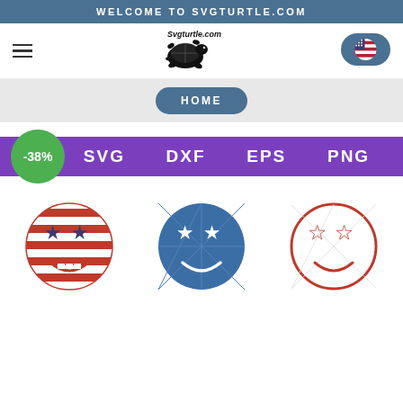WELCOME TO SVGTURTLE.COM
[Figure (logo): SVGTurtle.com logo with cartoon turtle]
[Figure (illustration): US flag circular button in navigation bar]
HOME
SVG   DXF   EPS   PNG
-38%
[Figure (illustration): Three patriotic smiley face SVG designs: red/white stripe with stars, blue solid with white stars, red outline with stars]
Patriotic smiley face SVG cut files